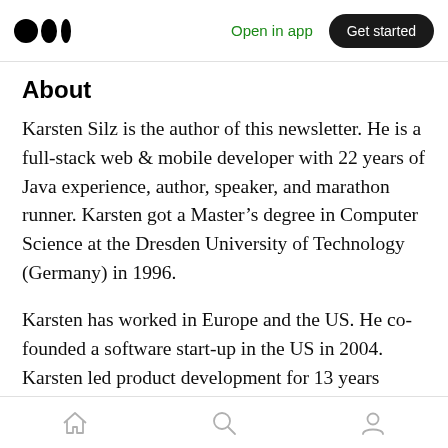Open in app | Get started
About
Karsten Silz is the author of this newsletter. He is a full-stack web & mobile developer with 22 years of Java experience, author, speaker, and marathon runner. Karsten got a Master’s degree in Computer Science at the Dresden University of Technology (Germany) in 1996.
Karsten has worked in Europe and the US. He co-founded a software start-up in the US in 2004. Karsten led product development for 13 years
Home | Search | Profile